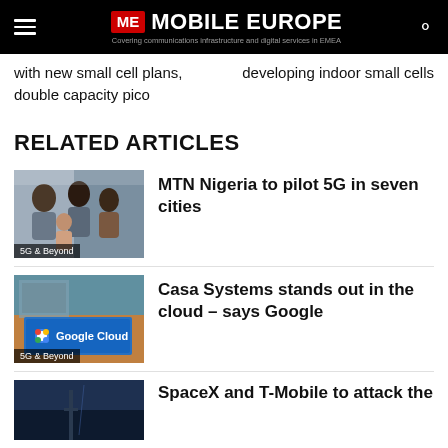ME MOBILE EUROPE — Covering communications infrastructure and digital services in EMEA
with new small cell plans, double capacity pico
developing indoor small cells
RELATED ARTICLES
[Figure (photo): Family with two adults and two children looking at a device together, labeled '5G & Beyond']
MTN Nigeria to pilot 5G in seven cities
[Figure (photo): Composite image with Google Cloud logo overlay, labeled '5G & Beyond']
Casa Systems stands out in the cloud – says Google
[Figure (photo): Dark sky scene, partial view]
SpaceX and T-Mobile to attack the